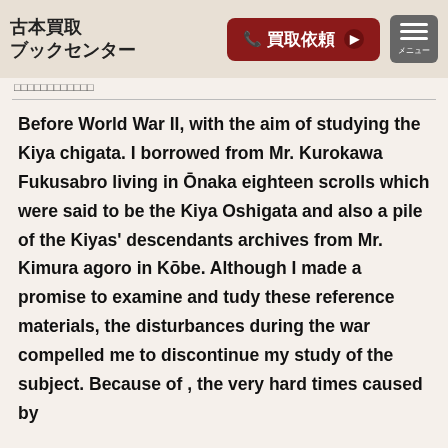古本買取
ブックセンター
□□□□□□□□□□□□
Before World War II, with the aim of studying the Kiya chigata. I borrowed from Mr. Kurokawa Fukusabro living in Ōnaka eighteen scrolls which were said to be the Kiya Oshigata and also a pile of the Kiyas' descendants archives from Mr. Kimura agoro in Kōbe. Although I made a promise to examine and tudy these reference materials, the disturbances during the war compelled me to discontinue my study of the subject. Because of , the very hard times caused by